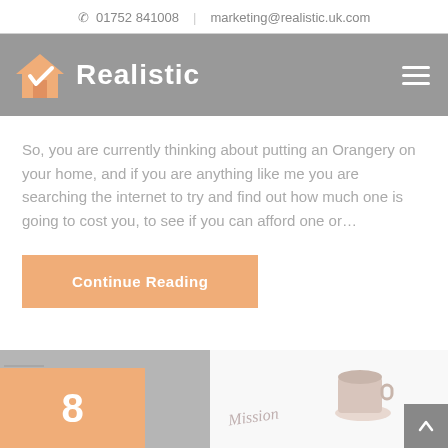📞 01752 841008  |  marketing@realistic.uk.com
[Figure (logo): Realistic logo with house checkmark icon and company name in white on grey background, hamburger menu icon on right]
So, you are currently thinking about putting an Orangery on your home, and if you are anything like me you are searching the internet to try and find out how much one is going to cost you, to see if you can afford one or…
Continue Reading
[Figure (photo): Bottom strip showing number 8 on orange background (left), handwritten cursive text 'Mission' on notepad (center), coffee cup (right), and grey up-arrow button (far right)]